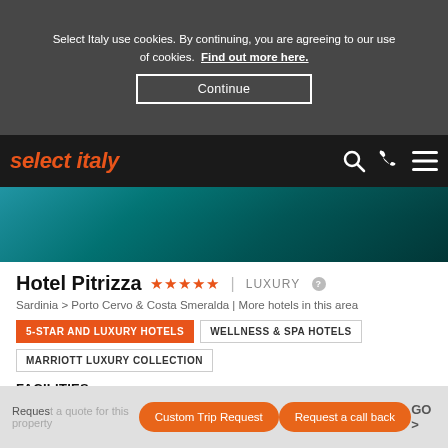Select Italy use cookies. By continuing, you are agreeing to our use of cookies. Find out more here. Continue
select italy
[Figure (photo): Aerial/underwater teal and turquoise water photo used as hero image for Hotel Pitrizza]
Hotel Pitrizza ★★★★★ | LUXURY
Sardinia > Porto Cervo & Costa Smeralda | More hotels in this area
5-STAR AND LUXURY HOTELS
WELLNESS & SPA HOTELS
MARRIOTT LUXURY COLLECTION
FACILITIES:
58 guestrooms and suites | 7 villas | Restaurant | Bar | Seawater infinity pool | Private beach | Fitness centre | Free parking | Babysitting (on request) | Golf Course (nearby) | Tennis court (nearby) | 2 Boutiques | Beauty Centre | Pitrizza Toy Club | Free Wi-fi
VIEW DETAILS
Custom Trip Request   Request a call back   Request a quote for this property   GO >